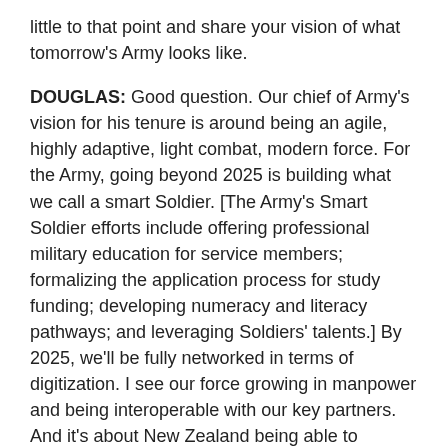little to that point and share your vision of what tomorrow's Army looks like.
DOUGLAS: Good question. Our chief of Army's vision for his tenure is around being an agile, highly adaptive, light combat, modern force. For the Army, going beyond 2025 is building what we call a smart Soldier. [The Army's Smart Soldier efforts include offering professional military education for service members; formalizing the application process for study funding; developing numeracy and literacy pathways; and leveraging Soldiers' talents.] By 2025, we'll be fully networked in terms of digitization. I see our force growing in manpower and being interoperable with our key partners. And it's about New Zealand being able to provide niche capabilities that will enhance our government's national security priorities and international rules-based order.
FORUM: Lastly, anything you'd like to share with partner